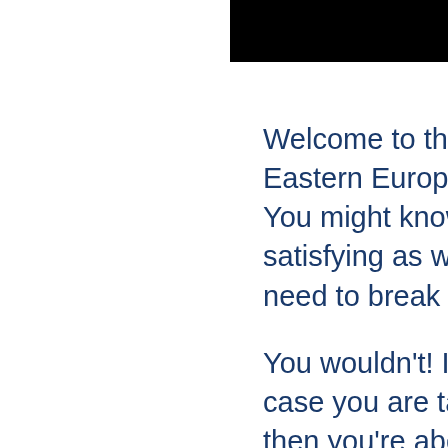[Figure (other): Black redacted rectangle in top-right corner]
Welcome to the premier we Eastern European wives, a You might know that the ge satisfying as we want it had need to break out of that m You wouldn't! I would not! A case you are talking with a then you're about to be reje simplest methods you poss say the words. Shopping fo 8) No girl is to ever hang ou